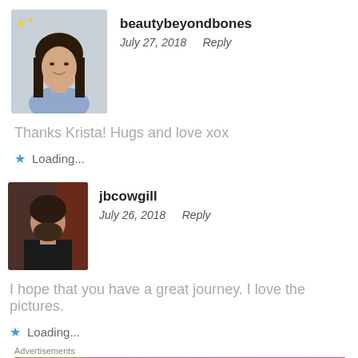beautybeyondbones
July 27, 2018   Reply
Thanks Krista! Hugs and love xox
Loading...
jbcowgill
July 26, 2018   Reply
I hope that you have a great journey. I love the pictures.
Loading...
Advertisements
[Figure (photo): Victoria's Secret advertisement banner with model, logo, SHOP THE COLLECTION text, and SHOP NOW button]